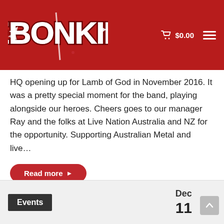Sebonkira — $0.00
HQ opening up for Lamb of God in November 2016. It was a pretty special moment for the band, playing alongside our heroes. Cheers goes to our manager Ray and the folks at Live Nation Australia and NZ for the opportunity. Supporting Australian Metal and live...
Read more
Events
Dec 11